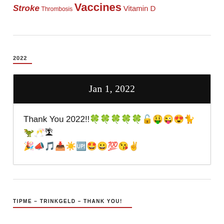Stroke Thrombosis Vaccines Vitamin D
2022
Jan 1, 2022
Thank You 2022!! 🍀🍀🍀🍀🍀🔓🤑😜😍🐈🦖🥂🏝️🎉📣🎵📥☀️🆙🤩😀💯😘✌️
TIPME – TRINKGELD – THANK YOU!